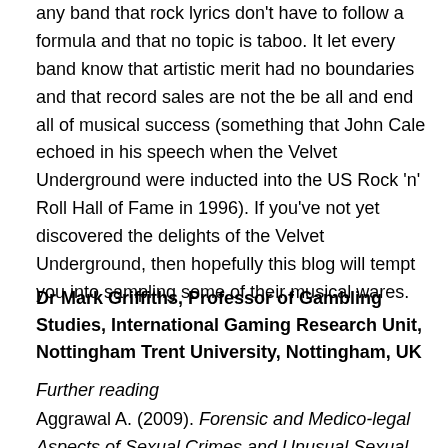any band that rock lyrics don't have to follow a formula and that no topic is taboo. It let every band know that artistic merit had no boundaries and that record sales are not the be all and end all of musical success (something that John Cale echoed in his speech when the Velvet Underground were inducted into the US Rock 'n' Roll Hall of Fame in 1996). If you've not yet discovered the delights of the Velvet Underground, then hopefully this blog will tempt you into sampling some of their musical wares.
Dr Mark Griffiths, Professor of Gambling Studies, International Gaming Research Unit, Nottingham Trent University, Nottingham, UK
Further reading
Aggrawal A. (2009). Forensic and Medico-legal Aspects of Sexual Crimes and Unusual Sexual Practices. Boca